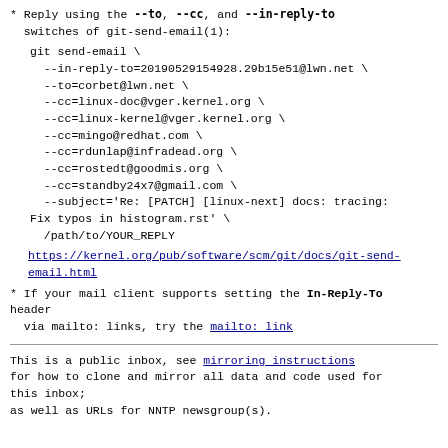* Reply using the --to, --cc, and --in-reply-to switches of git-send-email(1):
git send-email \
  --in-reply-to=20190529154928.29b15e51@lwn.net \
  --to=corbet@lwn.net \
  --cc=linux-doc@vger.kernel.org \
  --cc=linux-kernel@vger.kernel.org \
  --cc=mingo@redhat.com \
  --cc=rdunlap@infradead.org \
  --cc=rostedt@goodmis.org \
  --cc=standby24x7@gmail.com \
  --subject='Re: [PATCH] [linux-next] docs: tracing: Fix typos in histogram.rst' \
  /path/to/YOUR_REPLY
https://kernel.org/pub/software/scm/git/docs/git-send-email.html
* If your mail client supports setting the In-Reply-To header via mailto: links, try the mailto: link
This is a public inbox, see mirroring instructions for how to clone and mirror all data and code used for this inbox;
as well as URLs for NNTP newsgroup(s).